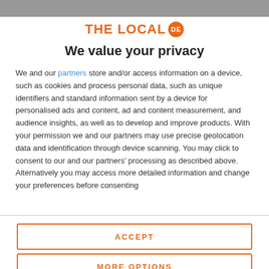THE LOCAL de
We value your privacy
We and our partners store and/or access information on a device, such as cookies and process personal data, such as unique identifiers and standard information sent by a device for personalised ads and content, ad and content measurement, and audience insights, as well as to develop and improve products. With your permission we and our partners may use precise geolocation data and identification through device scanning. You may click to consent to our and our partners' processing as described above. Alternatively you may access more detailed information and change your preferences before consenting
ACCEPT
MORE OPTIONS
radical threat on riot